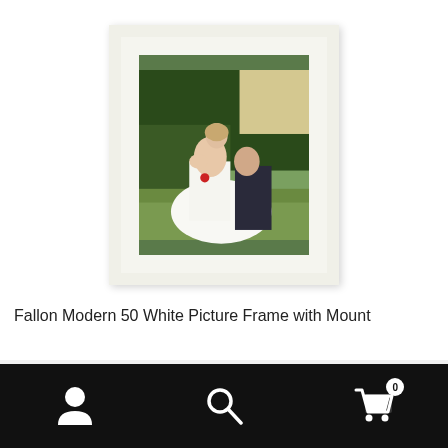[Figure (photo): A white picture frame with cream mount containing a wedding photo showing a bride in a white dress and groom in dark suit sitting on grass outdoors]
Fallon Modern 50 White Picture Frame with Mount
£ 89.76 - £ 148.49 inc VAT
[Figure (infographic): Black bottom navigation bar with user/account icon, search icon, and shopping cart icon with badge showing 0]